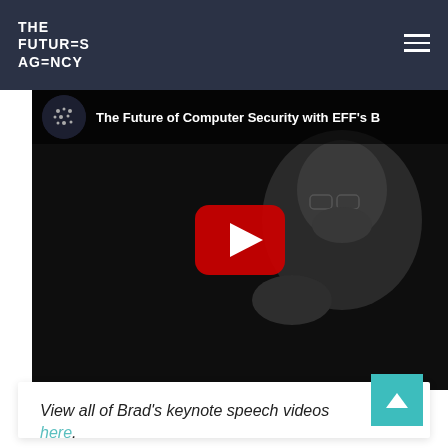THE FUTURES AGENCY
[Figure (screenshot): YouTube video thumbnail showing 'The Future of Computer Security with EFF's B...' with a man with glasses and a beard gesturing, set against a dark background with a YouTube play button (red rectangle with white triangle) overlaid in the center. A circular channel icon is visible in the top-left of the video.]
View all of Brad's keynote speech videos here.